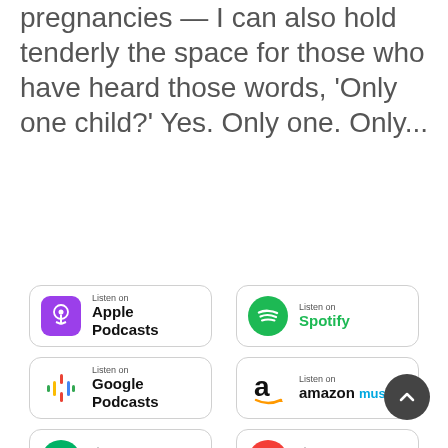pregnancies — I can also hold tenderly the space for those who have heard those words, 'Only one child?' Yes. Only one. Only...
[Figure (logo): Apple Podcasts badge - Listen on Apple Podcasts]
[Figure (logo): Spotify badge - Listen on Spotify]
[Figure (logo): Google Podcasts badge - Listen on Google Podcasts]
[Figure (logo): Amazon Music badge - Listen on amazon music]
[Figure (logo): Castro badge - Listen on Castro]
[Figure (logo): Pocket Casts badge - Listen on Pocket Casts]